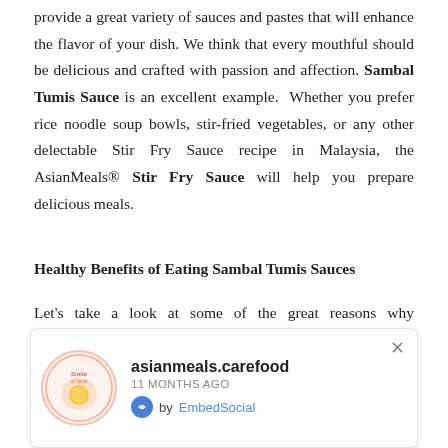provide a great variety of sauces and pastes that will enhance the flavor of your dish. We think that every mouthful should be delicious and crafted with passion and affection. Sambal Tumis Sauce is an excellent example.  Whether you prefer rice noodle soup bowls, stir-fried vegetables, or any other delectable Stir Fry Sauce recipe in Malaysia, the AsianMeals® Stir Fry Sauce will help you prepare delicious meals.
Healthy Benefits of Eating Sambal Tumis Sauces
Let's take a look at some of the great reasons why AsianMeals® sambal tumis sauce is so famous as a healthy eating choice.
[Figure (other): Notification card from asianmeals.carefood showing logo, site name, time posted '11 MONTHS AGO', and 'by EmbedSocial' with close button]